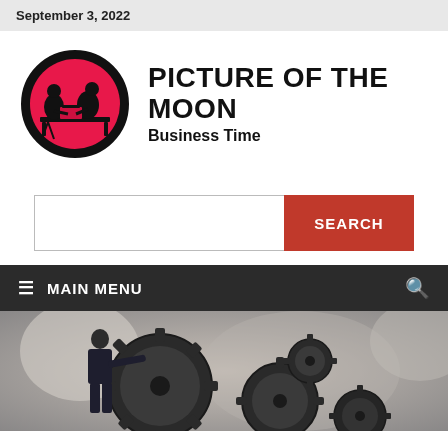September 3, 2022
[Figure (logo): Picture of the Moon logo: circular emblem with red background and black silhouette of two people at a desk, with bold text 'PICTURE OF THE MOON' and subtitle 'Business Time']
[Figure (screenshot): Search bar with empty text input and red SEARCH button]
≡ MAIN MENU
[Figure (photo): Hero image showing a person in a suit touching large industrial gears/cogs against a blurred background]